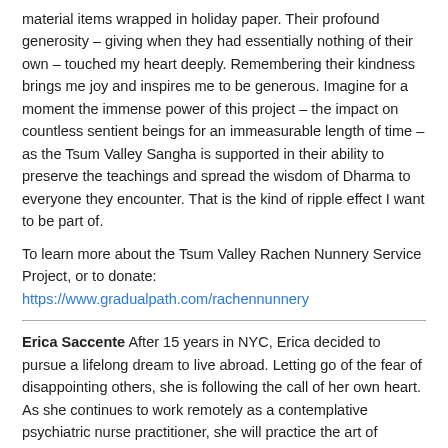material items wrapped in holiday paper. Their profound generosity – giving when they had essentially nothing of their own – touched my heart deeply. Remembering their kindness brings me joy and inspires me to be generous. Imagine for a moment the immense power of this project – the impact on countless sentient beings for an immeasurable length of time – as the Tsum Valley Sangha is supported in their ability to preserve the teachings and spread the wisdom of Dharma to everyone they encounter. That is the kind of ripple effect I want to be part of.
To learn more about the Tsum Valley Rachen Nunnery Service Project, or to donate: https://www.gradualpath.com/rachennunnery
Erica Saccente After 15 years in NYC, Erica decided to pursue a lifelong dream to live abroad. Letting go of the fear of disappointing others, she is following the call of her own heart. As she continues to work remotely as a contemplative psychiatric nurse practitioner, she will practice the art of surrender - having trust, listening to her intuition, and embracing a path of uncertainty. She will express her reflections of the Lam Rim through her love of writing and photography. Join her on the journey!
Subhana Ghatta...